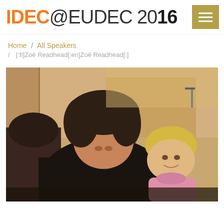IDEC@EUDEC 2016
Home / All Speakers / [:fi]Zoë Readhead[:en]Zoë Readhead[:]
[Figure (photo): Photo of Zoë Readhead, a woman with short brown hair, smiling, holding a young blonde child in a pink outfit. They appear to be indoors near a wooden structure. A dark animal (possibly a horse) is visible on the left side of the frame.]